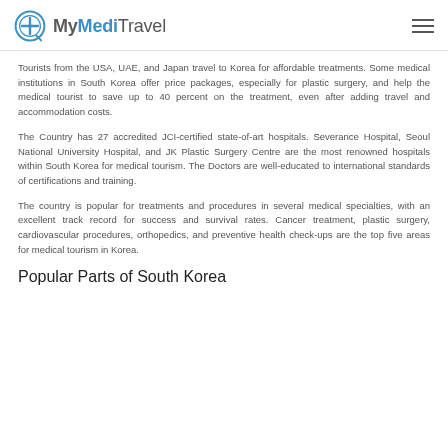MyMediTravel
Tourists from the USA, UAE, and Japan travel to Korea for affordable treatments. Some medical institutions in South Korea offer price packages, especially for plastic surgery, and help the medical tourist to save up to 40 percent on the treatment, even after adding travel and accommodation costs.
The Country has 27 accredited JCI-certified state-of-art hospitals. Severance Hospital, Seoul National University Hospital, and JK Plastic Surgery Centre are the most renowned hospitals within South Korea for medical tourism. The Doctors are well-educated to international standards of certifications and training.
The country is popular for treatments and procedures in several medical specialties, with an excellent track record for success and survival rates. Cancer treatment, plastic surgery, cardiovascular procedures, orthopedics, and preventive health check-ups are the top five areas for medical tourism in Korea.
Popular Parts of South Korea